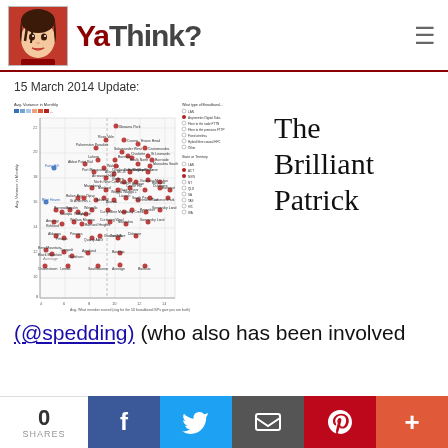YaThink?
15 March 2014 Update:
[Figure (scatter-plot): Scatter plot showing average variance in monthly broadband speed vs average what members scored, with colored dots representing different types of broadband connections across various Australian suburbs/regions. Legend includes LAN, Asymmetric Digital Subs, Fibre to the node FTTN, Fibre to the premises FTTP, Fixed wireless, Hybrid fibre coaxial HFC, Other. State or Territory legend also shown.]
The Brilliant Patrick
(@spedding) (who also has been involved
0 SHARES | Facebook | Twitter | Email | Pinterest | +